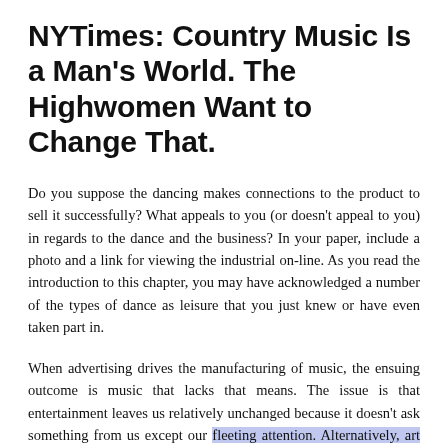NYTimes: Country Music Is a Man's World. The Highwomen Want to Change That.
Do you suppose the dancing makes connections to the product to sell it successfully? What appeals to you (or doesn't appeal to you) in regards to the dance and the business? In your paper, include a photo and a link for viewing the industrial on-line. As you read the introduction to this chapter, you may have acknowledged a number of the types of dance as leisure that you just knew or have even taken part in.
When advertising drives the manufacturing of music, the ensuing outcome is music that lacks that means. The issue is that entertainment leaves us relatively unchanged because it doesn't ask something from us except our fleeting attention. Alternatively, art forces you to choose, to look at your life and generally life itself, and to be vulnerable and